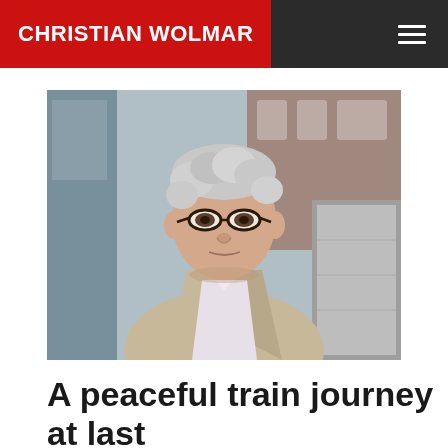CHRISTIAN WOLMAR
[Figure (photo): Portrait photo of Christian Wolmar, a middle-aged man with white curly hair and glasses, wearing a beige blazer and light shirt, standing outdoors in front of a glass building and stone architecture.]
A peaceful train journey at last